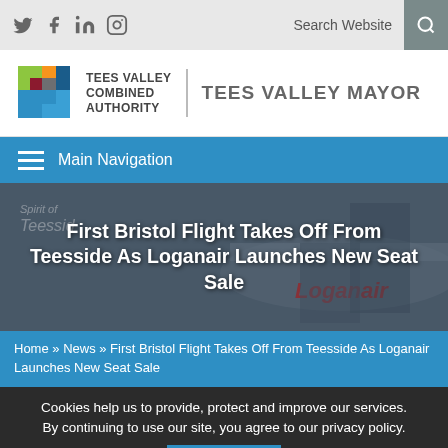Social icons: Twitter, Facebook, LinkedIn, Instagram | Search Website
[Figure (logo): Tees Valley Combined Authority logo with mosaic geometric shape and text, with Tees Valley Mayor wordmark]
Main Navigation
[Figure (photo): Man in suit standing at airplane stairs with Loganair aircraft, text reading 'Spirit of Teesside' and 'Loganair' branding visible]
First Bristol Flight Takes Off From Teesside As Loganair Launches New Seat Sale
Home » News » First Bristol Flight Takes Off From Teesside As Loganair Launches New Seat Sale
Cookies help us to provide, protect and improve our services. By continuing to use our site, you agree to our privacy policy.
✕ CLOSE
Loganair's first flight to Bristol landed from Teesside International Airport yesterday, marking its fourth service